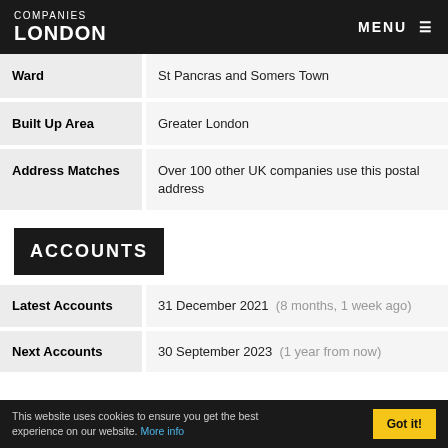COMPANIES LONDON | MENU
| Field | Value |
| --- | --- |
| Ward | St Pancras and Somers Town |
| Built Up Area | Greater London |
| Address Matches | Over 100 other UK companies use this postal address |
ACCOUNTS
| Field | Value |
| --- | --- |
| Latest Accounts | 31 December 2021  (8 months, 1 week ago) |
| Next Accounts | 30 September 2023  (1 year from now) |
This website uses cookies to ensure you get the best experience on our website. More info  Got it!